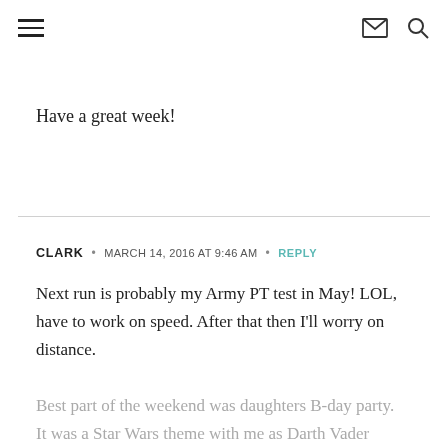[hamburger menu icon] [envelope icon] [search icon]
Have a great week!
CLARK · MARCH 14, 2016 AT 9:46 AM · REPLY
Next run is probably my Army PT test in May! LOL, have to work on speed. After that then I'll worry on distance.

Best part of the weekend was daughters B-day party. It was a Star Wars theme with me as Darth Vader